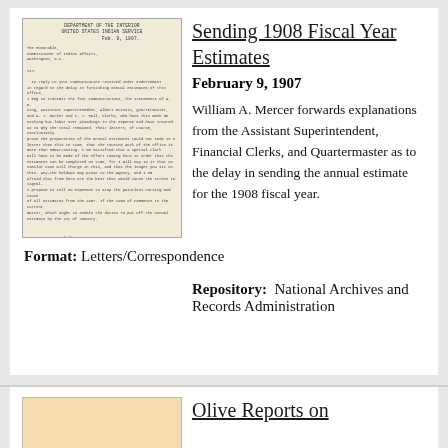[Figure (photo): Scanned letter on Department of the Interior letterhead, dated Feb. 9, 1907, typed correspondence]
Sending 1908 Fiscal Year Estimates
February 9, 1907
William A. Mercer forwards explanations from the Assistant Superintendent, Financial Clerks, and Quartermaster as to the delay in sending the annual estimate for the 1908 fiscal year.
Format: Letters/Correspondence
Repository: National Archives and Records Administration
[Figure (photo): Scanned table or form document, partially visible at bottom of page]
Olive Reports on